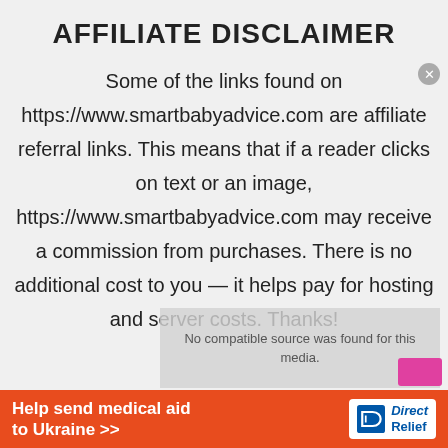AFFILIATE DISCLAIMER
Some of the links found on https://www.smartbabyadvice.com are affiliate referral links. This means that if a reader clicks on text or an image, https://www.smartbabyadvice.com may receive a commission from purchases. There is no additional cost to you — it helps pay for hosting and server costs. Thanks!
[Figure (screenshot): Video player overlay with message 'No compatible source was found for this media' and a pink/magenta button, with a gray semi-transparent background overlay]
[Figure (infographic): Orange advertisement banner reading 'Help send medical aid to Ukraine >>' with Direct Relief logo in white on right side]